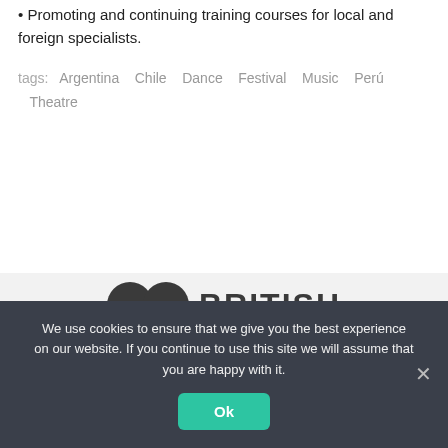• Promoting and continuing training courses for local and foreign specialists.
tags:  Argentina  Chile  Dance  Festival  Music  Perú  Theatre
[Figure (logo): British Council logo: two overlapping dark circles and bold uppercase text reading BRITISH]
We use cookies to ensure that we give you the best experience on our website. If you continue to use this site we will assume that you are happy with it.